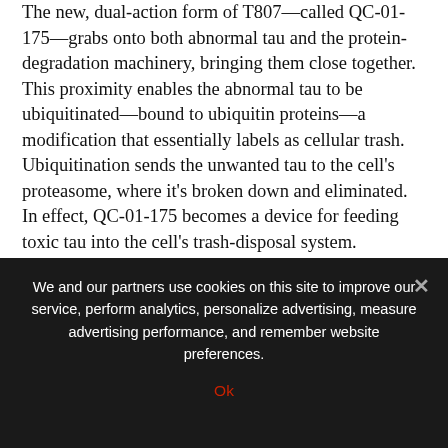The new, dual-action form of T807—called QC-01-175—grabs onto both abnormal tau and the protein-degradation machinery, bringing them close together. This proximity enables the abnormal tau to be ubiquitinated—bound to ubiquitin proteins—a modification that essentially labels as cellular trash. Ubiquitination sends the unwanted tau to the cell's proteasome, where it's broken down and eliminated. In effect, QC-01-175 becomes a device for feeding toxic tau into the cell's trash-disposal system.
When researchers tested the new tool for tau degradation in laboratory cultures of neurons derived from patients with tau mutations linked to FTD and cells from healthy volunteers, it worked as designed. It cleared away the abnormal tau from cells of patients with FTD, while leaving...
We and our partners use cookies on this site to improve our service, perform analytics, personalize advertising, measure advertising performance, and remember website preferences.
Ok